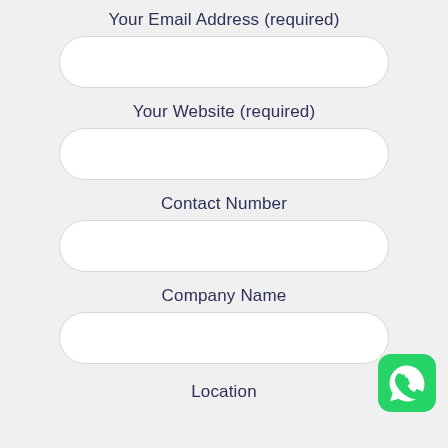Your Email Address (required)
Your Website (required)
Contact Number
Company Name
[Figure (logo): WhatsApp logo icon — green rounded square with white phone/chat bubble symbol]
Location